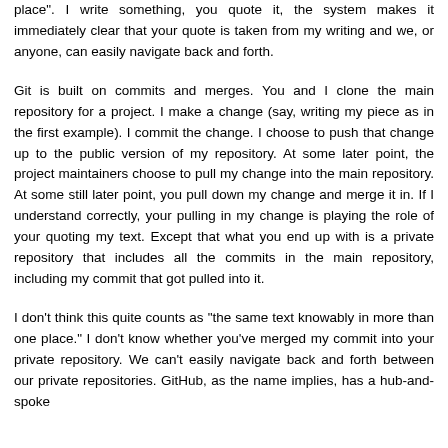place". I write something, you quote it, the system makes it immediately clear that your quote is taken from my writing and we, or anyone, can easily navigate back and forth.
Git is built on commits and merges. You and I clone the main repository for a project. I make a change (say, writing my piece as in the first example). I commit the change. I choose to push that change up to the public version of my repository. At some later point, the project maintainers choose to pull my change into the main repository. At some still later point, you pull down my change and merge it in. If I understand correctly, your pulling in my change is playing the role of your quoting my text. Except that what you end up with is a private repository that includes all the commits in the main repository, including my commit that got pulled into it.
I don't think this quite counts as "the same text knowably in more than one place." I don't know whether you've merged my commit into your private repository. We can't easily navigate back and forth between our private repositories. GitHub, as the name implies, has a hub-and-spoke